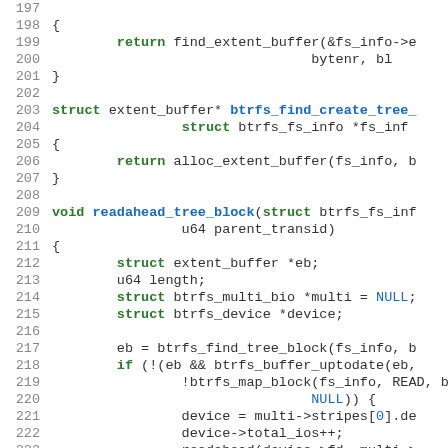[Figure (screenshot): Source code listing in C showing functions btrfs_find_create_tree_block and readahead_tree_block, with line numbers 197-226+]